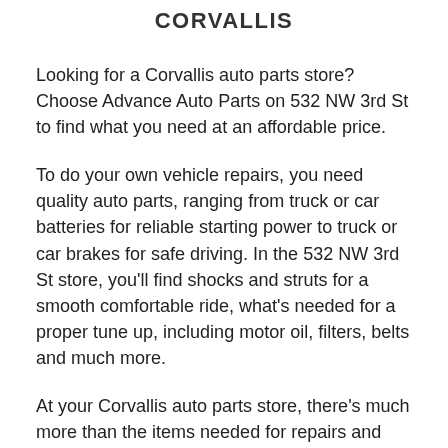CORVALLIS
Looking for a Corvallis auto parts store? Choose Advance Auto Parts on 532 NW 3rd St to find what you need at an affordable price.
To do your own vehicle repairs, you need quality auto parts, ranging from truck or car batteries for reliable starting power to truck or car brakes for safe driving. In the 532 NW 3rd St store, you'll find shocks and struts for a smooth comfortable ride, what's needed for a proper tune up, including motor oil, filters, belts and much more.
At your Corvallis auto parts store, there's much more than the items needed for repairs and maintenance. There are also friendly, knowledgeable Team Members who will answer questions and recommend the parts